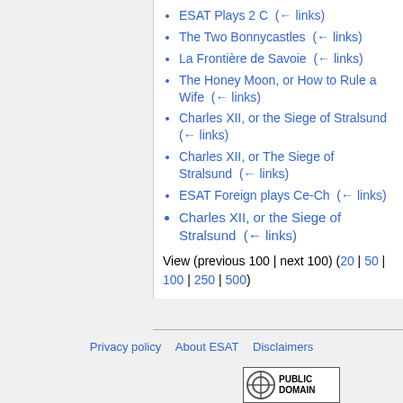ESAT Plays 2 C  (← links)
The Two Bonnycastles  (← links)
La Frontière de Savoie  (← links)
The Honey Moon, or How to Rule a Wife  (← links)
Charles XII, or the Siege of Stralsund  (← links)
Charles XII, or The Siege of Stralsund  (← links)
ESAT Foreign plays Ce-Ch  (← links)
Charles XII, or the Siege of Stralsund  (← links)
View (previous 100 | next 100) (20 | 50 | 100 | 250 | 500)
Privacy policy   About ESAT   Disclaimers